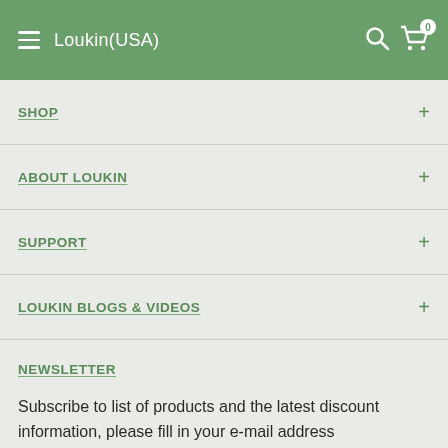Loukin(USA)
SHOP
ABOUT LOUKIN
SUPPORT
LOUKIN BLOGS & VIDEOS
NEWSLETTER
Subscribe to list of products and the latest discount information, please fill in your e-mail address